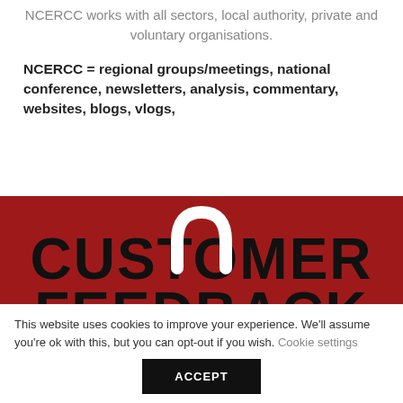NCERCC works with all sectors, local authority, private and voluntary organisations.
NCERCC = regional groups/meetings, national conference, newsletters, analysis, commentary, websites, blogs, vlogs,
[Figure (illustration): Red banner with large bold black text reading CUSTOMER FEEDBACK, with a white padlock arc shape overlaid on the letters]
This website uses cookies to improve your experience. We'll assume you're ok with this, but you can opt-out if you wish. Cookie settings
ACCEPT